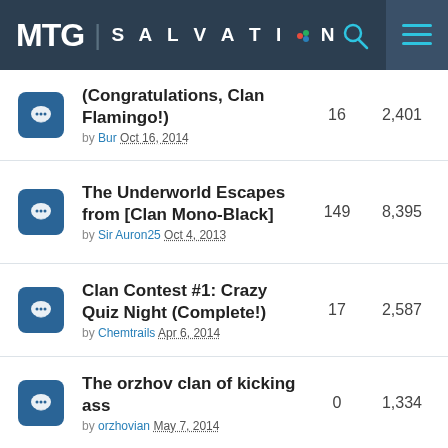MTG SALVATION
| Topic | Replies | Views |
| --- | --- | --- |
| (Congratulations, Clan Flamingo!) by Bur Oct 16, 2014 | 16 | 2,401 |
| The Underworld Escapes from [Clan Mono-Black] by Sir Auron25 Oct 4, 2013 | 149 | 8,395 |
| Clan Contest #1: Crazy Quiz Night (Complete!) by Chemtrails Apr 6, 2014 | 17 | 2,587 |
| The orzhov clan of kicking ass by orzhovian May 7, 2014 | 0 | 1,334 |
| We know what the fox says. by Digi Nov 19, 2013 | 1,001 | 25,059 |
| Clan of the Year 2013 Results and Discussion | 2 | 1,417 |